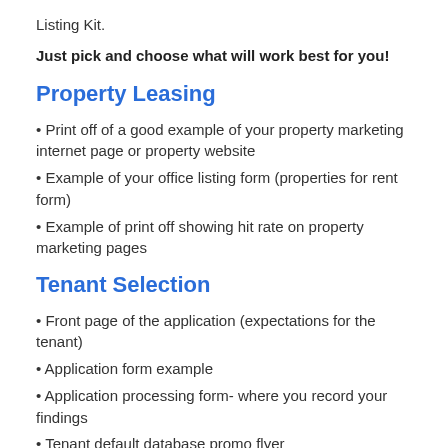Listing Kit.
Just pick and choose what will work best for you!
Property Leasing
• Print off of a good example of your property marketing internet page or property website
• Example of your office listing form (properties for rent form)
• Example of print off showing hit rate on property marketing pages
Tenant Selection
• Front page of the application (expectations for the tenant)
• Application form example
• Application processing form- where you record your findings
• Tenant default database promo flyer